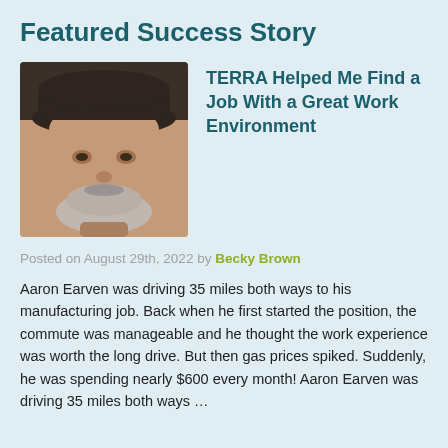Featured Success Story
[Figure (photo): Close-up portrait photo of a middle-aged man with a grey beard and a dark cap, smiling]
TERRA Helped Me Find a Job With a Great Work Environment
Posted on August 29th, 2022 by Becky Brown
Aaron Earven was driving 35 miles both ways to his manufacturing job. Back when he first started the position, the commute was manageable and he thought the work experience was worth the long drive.  But then gas prices spiked.  Suddenly, he was spending nearly $600 every month!  Aaron Earven was driving 35 miles both ways …